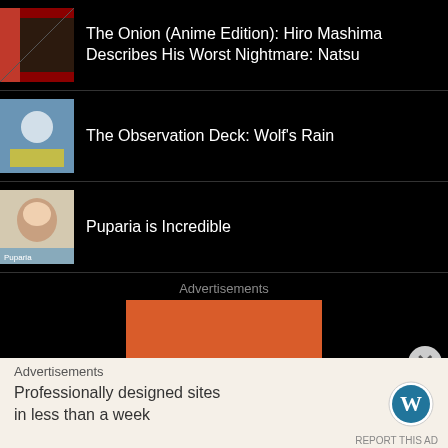The Onion (Anime Edition): Hiro Mashima Describes His Worst Nightmare: Natsu
The Observation Deck: Wolf's Rain
Puparia is Incredible
Advertisements
[Figure (other): Orange advertisement banner with white bold text reading 'Search, browse,']
[Figure (other): Close button (X) circle]
Advertisements
Professionally designed sites in less than a week
[Figure (logo): WordPress logo]
REPORT THIS AD